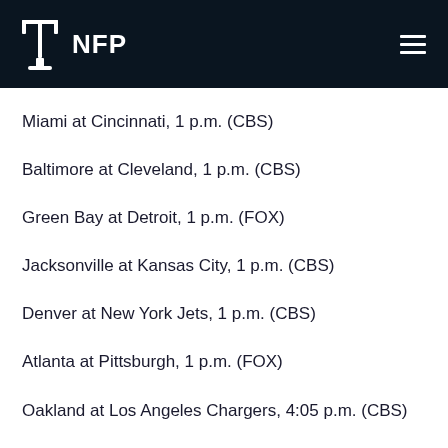NFP
Miami at Cincinnati, 1 p.m. (CBS)
Baltimore at Cleveland, 1 p.m. (CBS)
Green Bay at Detroit, 1 p.m. (FOX)
Jacksonville at Kansas City, 1 p.m. (CBS)
Denver at New York Jets, 1 p.m. (CBS)
Atlanta at Pittsburgh, 1 p.m. (FOX)
Oakland at Los Angeles Chargers, 4:05 p.m. (CBS)
Minnesota at Philadelphia, 4:25 p.m. (FOX)